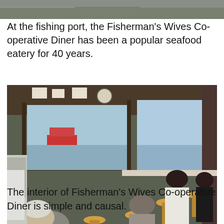[Figure (photo): Top portion of a photo showing exterior or partial view related to the fishing port, cropped at top of page.]
At the fishing port, the Fisherman's Wives Co-operative Diner has been a popular seafood eatery for 40 years.
[Figure (photo): Interior of Fisherman's Wives Co-operative Diner showing customers seated on wooden stools at a counter along windows overlooking the harbor, with a red ship visible outside. Kitchen area visible on the left.]
The interior of Fisherman's Wives Co-operative Diner is simple and causal.